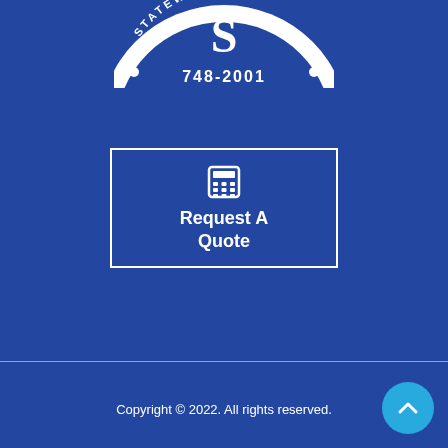[Figure (logo): Partial circular logo badge with letter S and phone number 748-2001, white on dark blue]
[Figure (infographic): Request A Quote button box with calculator icon, white border on blue background, bold white text 'Request A Quote']
Copyright © 2022. All rights reserved.